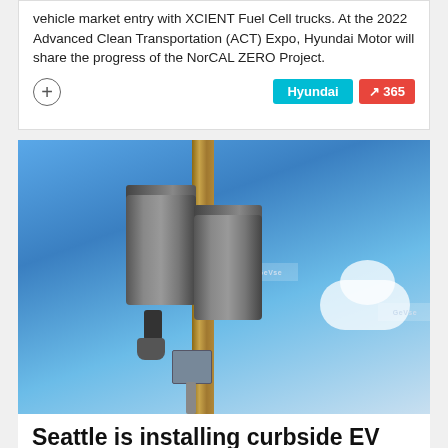vehicle market entry with XCIENT Fuel Cell trucks. At the 2022 Advanced Clean Transportation (ACT) Expo, Hyundai Motor will share the progress of the NorCAL ZERO Project.
[Figure (photo): Two EV charger units (branded 'Geyes' or similar) mounted on a wooden utility pole against a blue sky with clouds]
Seattle is installing curbside EV...